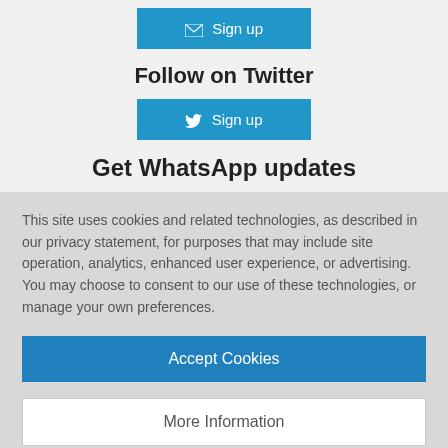[Figure (screenshot): Blue Sign up button with envelope icon for email signup]
Follow on Twitter
[Figure (screenshot): Blue Sign up button with Twitter bird icon for Twitter signup]
Get WhatsApp updates
This site uses cookies and related technologies, as described in our privacy statement, for purposes that may include site operation, analytics, enhanced user experience, or advertising. You may choose to consent to our use of these technologies, or manage your own preferences.
[Figure (screenshot): Blue Accept Cookies button]
[Figure (screenshot): White More Information button]
Privacy Policy | Powered by: TrustArc